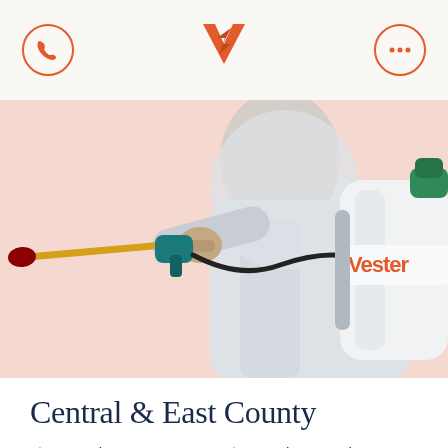Vester Pest Control app header with phone icon, Vester logo (V lightning bolt), and menu (...)
[Figure (photo): Pest control technician in white protective suit holding a yellow spray wand with teal nozzle connected by black hose to a white backpack sprayer labeled 'Vester', against a pink/salmon background]
Central & East County
San Diego
Rancho San Die...